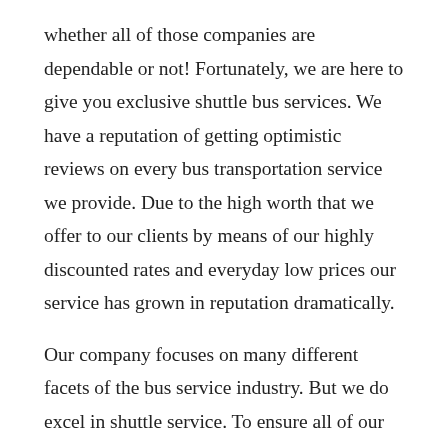whether all of those companies are dependable or not! Fortunately, we are here to give you exclusive shuttle bus services. We have a reputation of getting optimistic reviews on every bus transportation service we provide. Due to the high worth that we offer to our clients by means of our highly discounted rates and everyday low prices our service has grown in reputation dramatically.
Our company focuses on many different facets of the bus service industry. But we do excel in shuttle service. To ensure all of our passengers experience the best shuttle transfer we maintain all of our vehicles in top condition. When timeliness is the key to success within the modern world, our system revolves around the highest degree of punctuality and coordination. Our drivers are extremely skilled and have a popularity for secure driving. And when